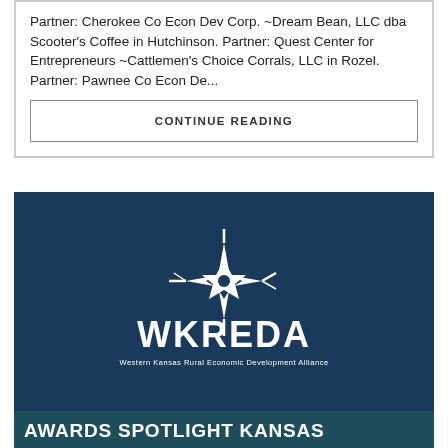Partner: Cherokee Co Econ Dev Corp. ~Dream Bean, LLC dba Scooter's Coffee in Hutchinson. Partner: Quest Center for Entrepreneurs ~Cattlemen's Choice Corrals, LLC in Rozel. Partner: Pawnee Co Econ De...
CONTINUE READING
[Figure (logo): WKREDA logo - Western Kansas Rural Economic Development Alliance white logo on dark blue background, featuring a star burst/compass rose symbol above the text WKREDA and subtitle Western Kansas Rural Economic Development Alliance]
AWARDS SPOTLIGHT KANSAS